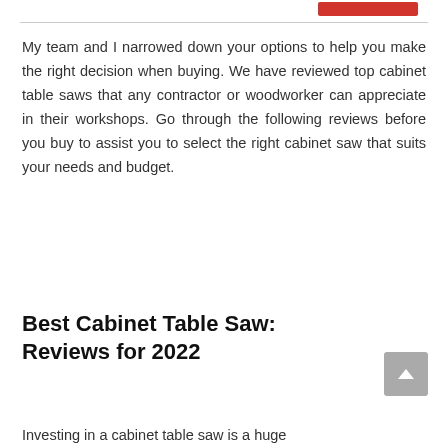My team and I narrowed down your options to help you make the right decision when buying. We have reviewed top cabinet table saws that any contractor or woodworker can appreciate in their workshops. Go through the following reviews before you buy to assist you to select the right cabinet saw that suits your needs and budget.
Best Cabinet Table Saw: Reviews for 2022
Investing in a cabinet table saw is a huge